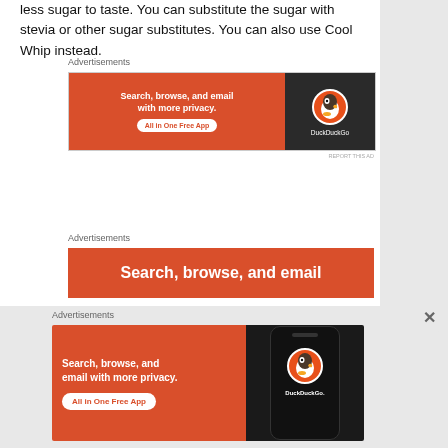less sugar to taste. You can substitute the sugar with stevia or other sugar substitutes. You can also use Cool Whip instead.
Advertisements
[Figure (screenshot): DuckDuckGo advertisement banner: 'Search, browse, and email with more privacy. All in One Free App' on orange background with DuckDuckGo logo on dark background]
Advertisements
[Figure (screenshot): DuckDuckGo advertisement partial banner: 'Search, browse, and email' on orange background, cut off]
Advertisements
[Figure (screenshot): DuckDuckGo advertisement: 'Search, browse, and email with more privacy. All in One Free App' with phone mockup showing DuckDuckGo logo and 'DuckDuckGo.' text]